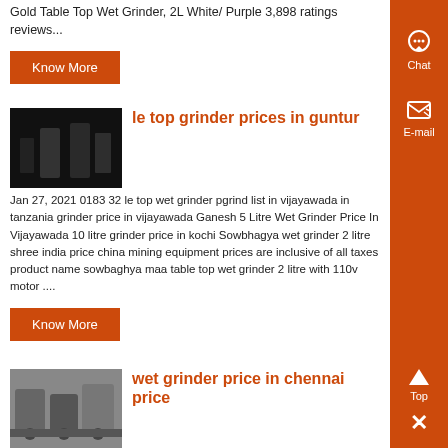Gold Table Top Wet Grinder, 2L White/ Purple 3,898 ratings reviews...
Know More
[Figure (photo): Dark image of a grinder machine]
le top grinder prices in guntur
Jan 27, 2021 0183 32 le top wet grinder pgrind list in vijayawada in tanzania grinder price in vijayawada Ganesh 5 Litre Wet Grinder Price In Vijayawada 10 litre grinder price in kochi Sowbhagya wet grinder 2 litre shree india price china mining equipment prices are inclusive of all taxes product name sowbaghya maa table top wet grinder 2 litre with 110v motor ....
Know More
[Figure (photo): Image of wet grinder machine in grey/silver tones]
wet grinder price in chennai price
Wet Grinder in Chennai, Tamil Nadu Get Latest Price from Business listings of Wet Grinder, Rice Grinding Machine manufacturers, suppliers and exporters...